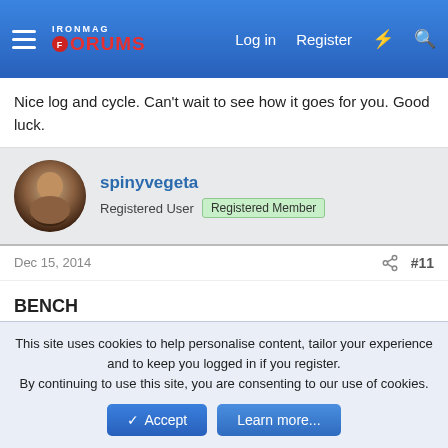IronMag Forums — Log in  Register
Nice log and cycle. Can't wait to see how it goes for you. Good luck.
spinyvegeta
Registered User  Registered Member
Dec 15, 2014  #11
BENCH
135x10
225x10
315x5
365x2
315x5
This site uses cookies to help personalise content, tailor your experience and to keep you logged in if you register.
By continuing to use this site, you are consenting to our use of cookies.
Accept  Learn more...